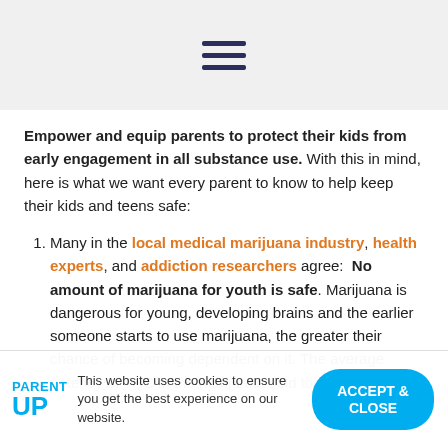[hamburger menu icon]
Empower and equip parents to protect their kids from early engagement in all substance use. With this in mind, here is what we want every parent to know to help keep their kids and teens safe:
Many in the local medical marijuana industry, health experts, and addiction researchers agree: No amount of marijuana for youth is safe. Marijuana is dangerous for young, developing brains and the earlier someone starts to use marijuana, the greater their chance of becoming dependent on it. The average potency of THC in the marijuana sold today is
This website uses cookies to ensure you get the best experience on our website.
ACCEPT & CLOSE